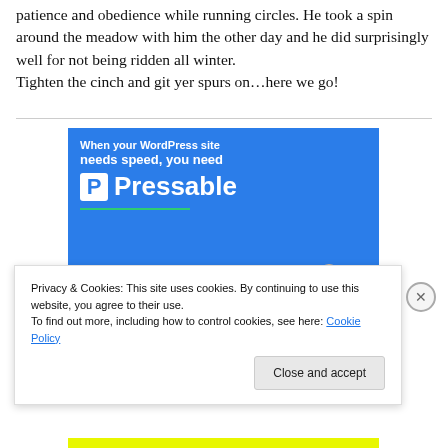patience and obedience while running circles. He took a spin around the meadow with him the other day and he did surprisingly well for not being ridden all winter. Tighten the cinch and git yer spurs on…here we go!
[Figure (screenshot): Advertisement banner for Pressable WordPress hosting. Blue background with white text reading 'When your WordPress site needs speed, you need' and the Pressable logo with a white P icon, a green underline, and a person leaping with a laptop.]
Privacy & Cookies: This site uses cookies. By continuing to use this website, you agree to their use.
To find out more, including how to control cookies, see here: Cookie Policy